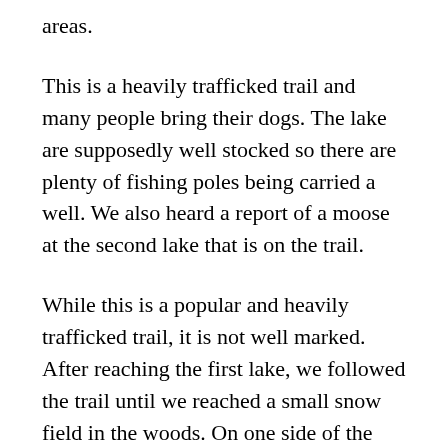areas.
This is a heavily trafficked trail and many people bring their dogs. The lake are supposedly well stocked so there are plenty of fishing poles being carried a well. We also heard a report of a moose at the second lake that is on the trail.
While this is a popular and heavily trafficked trail, it is not well marked. After reaching the first lake, we followed the trail until we reached a small snow field in the woods. On one side of the snow was what looked to be a well trafficked trail, and skirting the edge of the trail and going over a ridge was what appeared